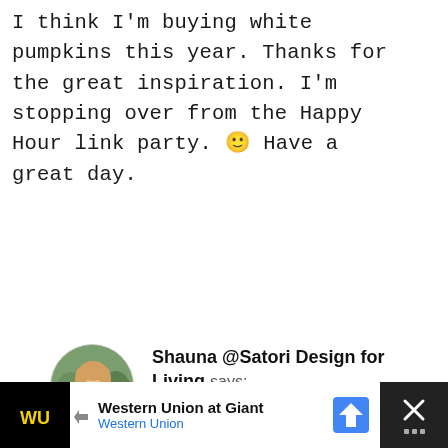I think I'm buying white pumpkins this year. Thanks for the great inspiration. I'm stopping over from the Happy Hour link party. 🙂 Have a great day.
[Figure (photo): Circular avatar photo of a woman with blonde hair wearing a dark blue top, standing outdoors with a blurred green background.]
Shauna @Satori Design for Living says:
September 23, 2012 at 1:48 pm
…ge fan of white, so of course this …y eve! Your porch is lovely.
[Figure (infographic): Social sharing buttons: Share (247), Pin (1.9K), Tweet]
[Figure (infographic): Advertisement banner: Western Union at Giant, Western Union logo and navigation arrow icon]